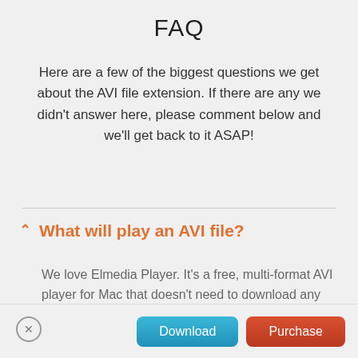FAQ
Here are a few of the biggest questions we get about the AVI file extension. If there are any we didn’t answer here, please comment below and we’ll get back to it ASAP!
What will play an AVI file?
We love Elmedia Player. It’s a free, multi-format AVI player for Mac that doesn’t need to download any other codecs. It works with pretty much everything out there and can stream content Chromecast, AirPlay,